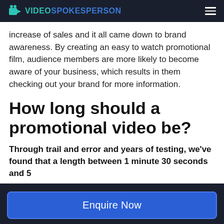VIDEOSPOKESPERSON
increase of sales and it all came down to brand awareness. By creating an easy to watch promotional film, audience members are more likely to become aware of your business, which results in them checking out your brand for more information.
How long should a promotional video be?
Through trail and error and years of testing, we've found that a length between 1 minute 30 seconds and 5
Enquire Now